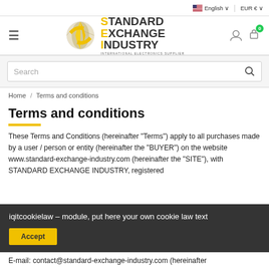English  EUR €
[Figure (logo): Standard Exchange Industry logo with globe icon and text 'STANDARD EXCHANGE INDUSTRY - INTERNATIONAL ELECTRONICS SUPPLIER']
Search
Home / Terms and conditions
Terms and conditions
These Terms and Conditions (hereinafter "Terms") apply to all purchases made by a user / person or entity (hereinafter the "BUYER") on the website www.standard-exchange-industry.com (hereinafter the "SITE"), with STANDARD EXCHANGE INDUSTRY, registered ... er 814 ... Poterie,
iqitcookielaw – module, put here your own cookie law text
Accept
E-mail: contact@standard-exchange-industry.com (hereinafter